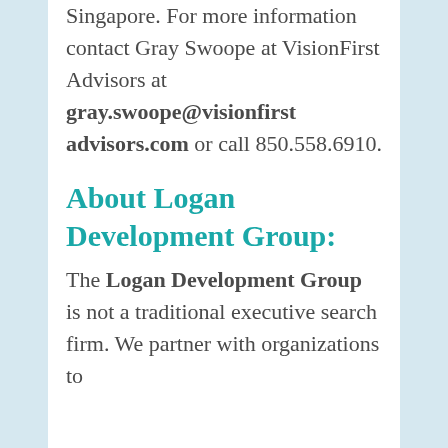Singapore. For more information contact Gray Swoope at VisionFirst Advisors at gray.swoope@visionfirstadvisors.com or call 850.558.6910.
About Logan Development Group:
The Logan Development Group is not a traditional executive search firm. We partner with organizations to